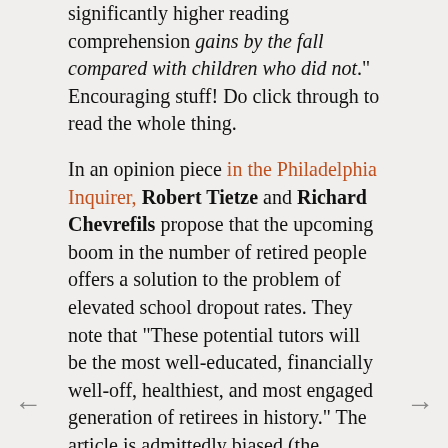significantly higher reading comprehension gains by the fall compared with children who did not." Encouraging stuff! Do click through to read the whole thing.

In an opinion piece in the Philadelphia Inquirer, Robert Tietze and Richard Chevrefils propose that the upcoming boom in the number of retired people offers a solution to the problem of elevated school dropout rates. They note that "These potential tutors will be the most well-educated, financially well-off, healthiest, and most engaged generation of retirees in history." The article is admittedly biased (the authors are seeking government funding for a particular program that uses retirees for tutoring), but it is an interesting idea.